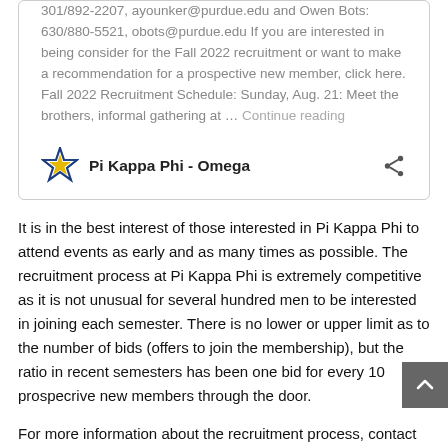301/892-2207, ayounker@purdue.edu and Owen Bots: 630/880-5521, obots@purdue.edu If you are interested in being consider for the Fall 2022 recruitment or want to make a recommendation for a prospective new member, click here. Fall 2022 Recruitment Schedule: Sunday, Aug. 21: Meet the brothers, informal gathering at … Continue reading
[Figure (logo): Pi Kappa Phi Omega chapter star logo with gold star center and blue star outline]
Pi Kappa Phi - Omega
It is in the best interest of those interested in Pi Kappa Phi to attend events as early and as many times as possible. The recruitment process at Pi Kappa Phi is extremely competitive as it is not unusual for several hundred men to be interested in joining each semester. There is no lower or upper limit as to the number of bids (offers to join the membership), but the ratio in recent semesters has been one bid for every 10 prospecrive new members through the door.
For more information about the recruitment process, contact Jack Russell, spring recruitment chairman.